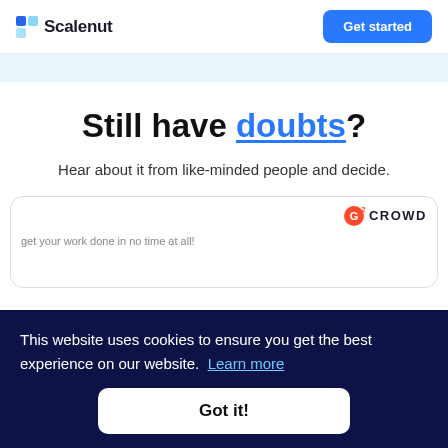Scalenut | Get started
Still have doubts?
Hear about it from like-minded people and decide.
[Figure (logo): G2 Crowd badge logo in top right of review card]
This website uses cookies to ensure you get the best experience on our website. Learn more
Got it!
get your work done in no time at all!